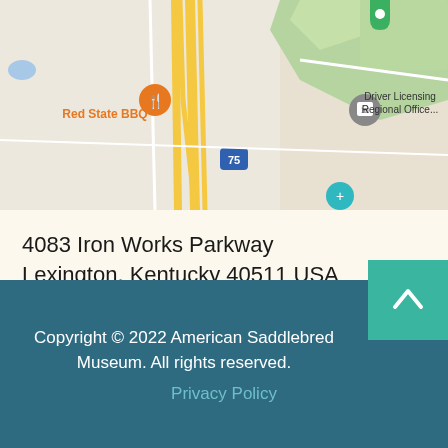[Figure (map): Google Maps screenshot showing area near 4083 Iron Works Parkway, Lexington KY. Shows Red State BBQ restaurant marker in orange, Driver Licensing Regional Office marker in gray, Interstate 75 highway, and green park areas.]
4083 Iron Works Parkway
Lexington, Kentucky 40511 USA
Phone: (859) 259-2746
View Google Map
Copyright © 2022 American Saddlebred Museum. All rights reserved.
Privacy Policy